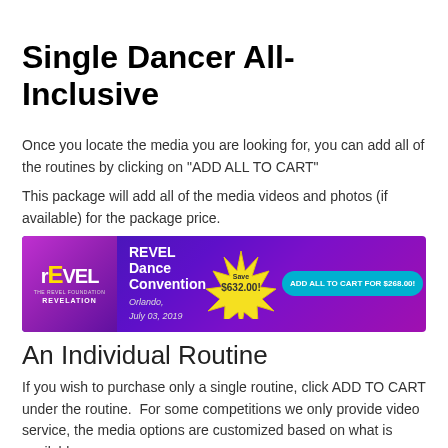Single Dancer All-Inclusive
Once you locate the media you are looking for, you can add all of the routines by clicking on "ADD ALL TO CART"
This package will add all of the media videos and photos (if available) for the package price.
[Figure (screenshot): Banner showing REVEL Dance Convention, Orlando, July 03, 2019, with a starburst showing Save $632.00! and a button ADD ALL TO CART FOR $268.00!]
An Individual Routine
If you wish to purchase only a single routine, click ADD TO CART under the routine.  For some competitions we only provide video service, the media options are customized based on what is available.
[Figure (photo): Partial image at bottom of page, appears to be a dance performance photo with blue/green lighting]